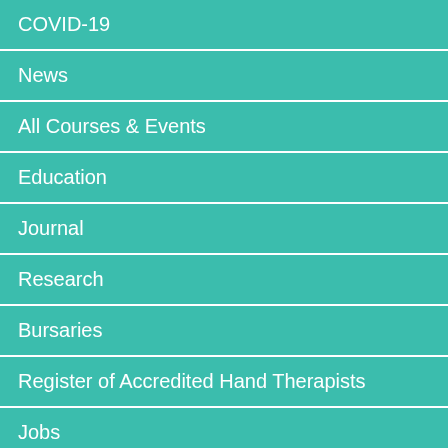COVID-19
News
All Courses & Events
Education
Journal
Research
Bursaries
Register of Accredited Hand Therapists
Jobs
E-Bulletin